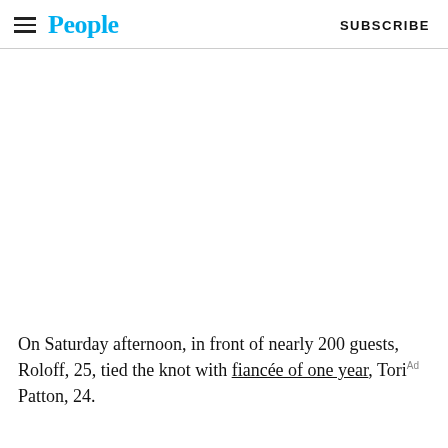People  SUBSCRIBE
[Figure (photo): White/blank image area placeholder (photo content not visible)]
On Saturday afternoon, in front of nearly 200 guests, Roloff, 25, tied the knot with fiancée of one year, Tori Patton, 24.